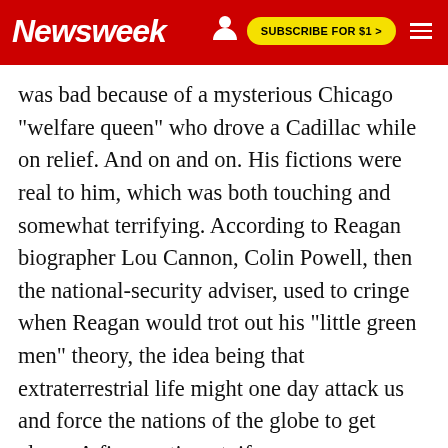Newsweek | SUBSCRIBE FOR $1 >
was bad because of a mysterious Chicago "welfare queen" who drove a Cadillac while on relief. And on and on. His fictions were real to him, which was both touching and somewhat terrifying. According to Reagan biographer Lou Cannon, Colin Powell, then the national-security adviser, used to cringe when Reagan would trot out his "little green men" theory, the idea being that extraterrestrial life might one day attack us and force the nations of the globe to get along. A fine sentiment, if more